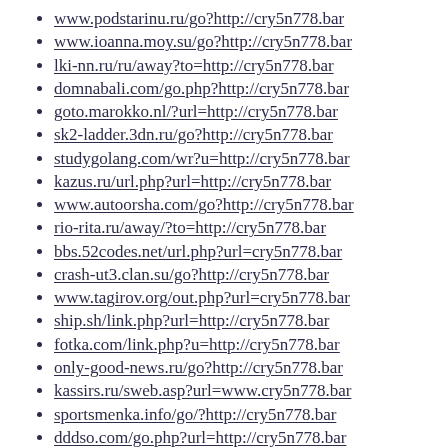www.podstarinu.ru/go?http://cry5n778.bar
www.ioanna.moy.su/go?http://cry5n778.bar
lki-nn.ru/ru/away?to=http://cry5n778.bar
domnabali.com/go.php?http://cry5n778.bar
goto.marokko.nl/?url=http://cry5n778.bar
sk2-ladder.3dn.ru/go?http://cry5n778.bar
studygolang.com/wr?u=http://cry5n778.bar
kazus.ru/url.php?url=http://cry5n778.bar
www.autoorsha.com/go?http://cry5n778.bar
rio-rita.ru/away/?to=http://cry5n778.bar
bbs.52codes.net/url.php?url=cry5n778.bar
crash-ut3.clan.su/go?http://cry5n778.bar
www.tagirov.org/out.php?url=cry5n778.bar
ship.sh/link.php?url=http://cry5n778.bar
fotka.com/link.php?u=http://cry5n778.bar
only-good-news.ru/go?http://cry5n778.bar
kassirs.ru/sweb.asp?url=www.cry5n778.bar
sportsmenka.info/go/?http://cry5n778.bar
dddso.com/go.php?url=http://cry5n778.bar